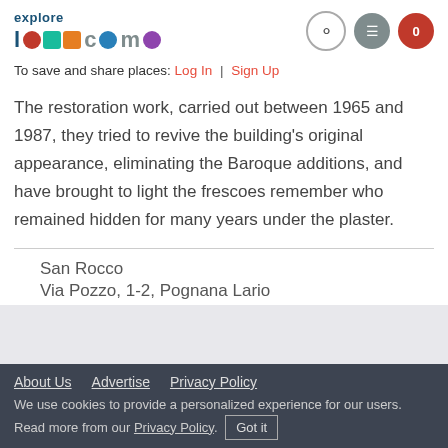[Figure (logo): Explore Lake Como logo with colorful dots and text]
To save and share places: Log In | Sign Up
The restoration work, carried out between 1965 and 1987, they tried to revive the building's original appearance, eliminating the Baroque additions, and have brought to light the frescoes remember who remained hidden for many years under the plaster.
San Rocco
Via Pozzo, 1-2, Pognana Lario
About Us  Advertise  Privacy Policy  We use cookies to provide a personalized experience for our users. Read more from our Privacy Policy. Got it